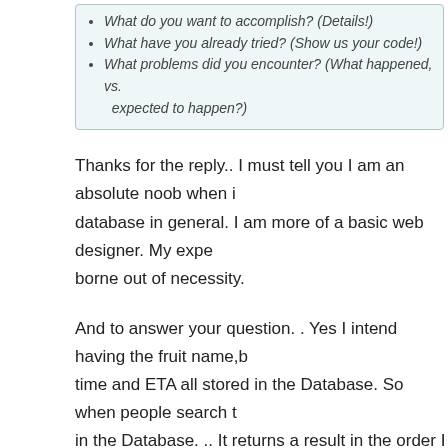What do you want to accomplish? (Details!)
What have you already tried? (Show us your code!)
What problems did you encounter? (What happened, vs. expected to happen?)
Thanks for the reply.. I must tell you I am an absolute noob when it comes to database in general. I am more of a basic web designer. My experience is borne out of necessity.
And to answer your question. . Yes I intend having the fruit name, time and ETA all stored in the Database. So when people search the Database. .. It returns a result in the order I pointed out in the of this would be the parcel tracking services freight companies offe
03-11-2014,   11:07 PM